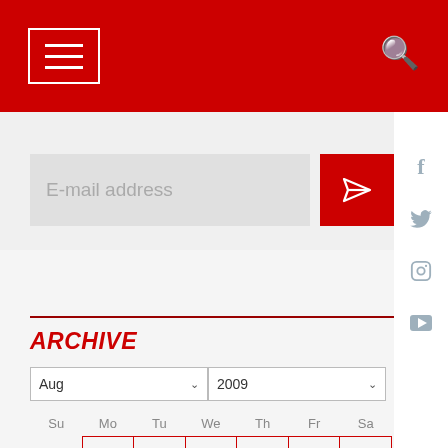[Figure (screenshot): Red navigation header bar with hamburger menu icon on left and search icon on right]
[Figure (screenshot): Email address input field with red send button (paper plane icon)]
ARCHIVE
[Figure (screenshot): Month/year dropdowns showing Aug and 2009 with a calendar grid below showing dates 1-20 for August 2009]
[Figure (screenshot): Social media sidebar icons: Facebook, Twitter, Instagram, YouTube]